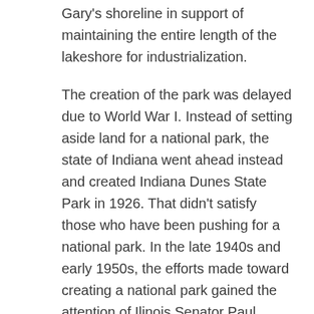Gary's shoreline in support of maintaining the entire length of the lakeshore for industrialization.
The creation of the park was delayed due to World War I. Instead of setting aside land for a national park, the state of Indiana went ahead instead and created Indiana Dunes State Park in 1926. That didn't satisfy those who have been pushing for a national park. In the late 1940s and early 1950s, the efforts made toward creating a national park gained the attention of Ilinois Senator Paul Douglas. Finally, a compromise was reached under the Kennedy administration which involved the creation of a national park only if a port could be constructed on the lakeshore. Douglas led the Congressional effort, making sure the Port of Indiana would be constructed only after the authorization of the